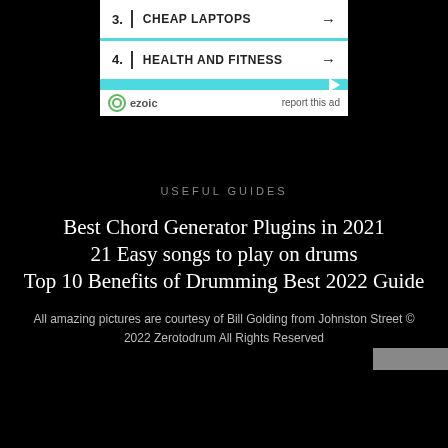[Figure (other): Advertisement widget showing numbered list items: 3. CHEAP LAPTOPS with arrow, 4. HEALTH AND FITNESS with arrow, with cyan divider bar and ezoic logo with 'report this ad' text]
USEFUL GUIDES
Best Chord Generator Plugins in 2021
21 Easy songs to play on drums
Top 10 Benefits of Drumming Best 2022 Guide
All amazing pictures are courtesy of Bill Golding from Johnston Street © 2022 Zerotodrum All Rights Reserved